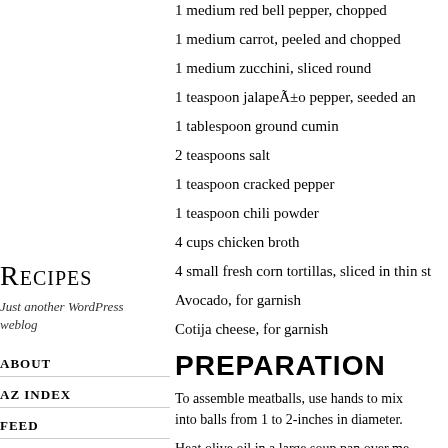Recipes
Just another WordPress weblog
ABOUT
AZ INDEX
FEED
1 medium red bell pepper, chopped
1 medium carrot, peeled and chopped
1 medium zucchini, sliced round
1 teaspoon jalapeño pepper, seeded an
1 tablespoon ground cumin
2 teaspoons salt
1 teaspoon cracked pepper
1 teaspoon chili powder
4 cups chicken broth
4 small fresh corn tortillas, sliced in thin st
Avocado, for garnish
Cotija cheese, for garnish
PREPARATION
To assemble meatballs, use hands to mix into balls from 1 to 2-inches in diameter.
Heat olive oil in a large soup pan over me pepper, and carrots for about 5 minutes, spices. Mix well, sautéing for another fe until well combined. Gently lower the me